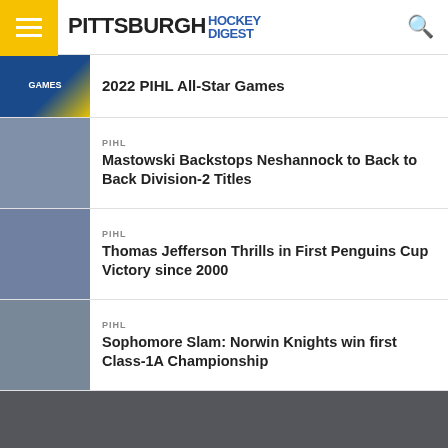Pittsburgh Hockey Digest
2022 PIHL All-Star Games
PIHL
Mastowski Backstops Neshannock to Back to Back Division-2 Titles
PIHL
Thomas Jefferson Thrills in First Penguins Cup Victory since 2000
PIHL
Sophomore Slam: Norwin Knights win first Class-1A Championship
HOME  RMU  PIHL  BURGH HOCKEY  HOCKEY'S HEADWATERS  412 FEATURES  NAHL  ACHA  PODCAST  CONTRIBUTORS
Copyright © 2016 Pittsburgh Hockey Digest.